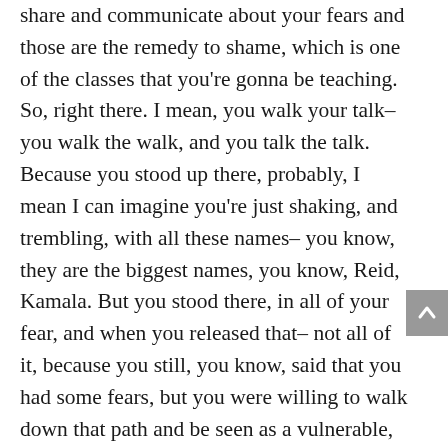share and communicate about your fears and those are the remedy to shame, which is one of the classes that you're gonna be teaching. So, right there. I mean, you walk your talk– you walk the walk, and you talk the talk. Because you stood up there, probably, I mean I can imagine you're just shaking, and trembling, with all these names– you know, they are the biggest names, you know, Reid, Kamala. But you stood there, in all of your fear, and when you released that– not all of it, because you still, you know, said that you had some fears, but you were willing to walk down that path and be seen as a vulnerable, amazing being and that's actually the connection that we all crave. And that's the remedy for shame. So I love the fact that you are a complete example